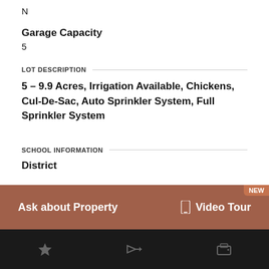N
Garage Capacity
5
LOT DESCRIPTION
5 – 9.9 Acres, Irrigation Available, Chickens, Cul-De-Sac, Auto Sprinkler System, Full Sprinkler System
SCHOOL INFORMATION
District
Ask about Property
Video Tour
NEW